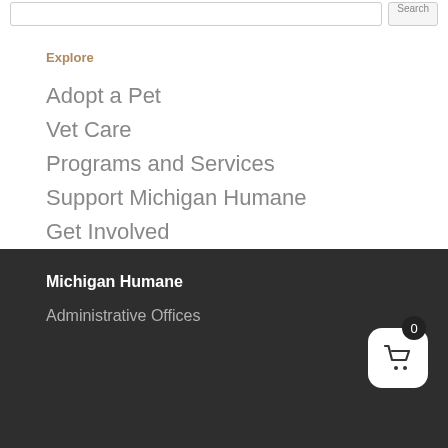Explore
Adopt a Pet
Vet Care
Programs and Services
Support Michigan Humane
Get Involved
About Michigan Humane
Partners and Sponsors
Michigan Humane
Administrative Offices